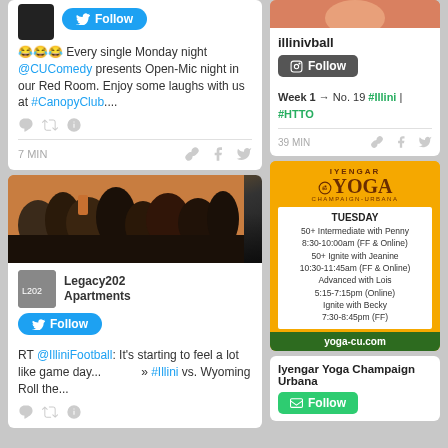[Figure (screenshot): Twitter card with laughing emojis tweet about @CUComedy Open-Mic night at #CanopyClub with Follow button]
😂😂😂 Every single Monday night @CUComedy presents Open-Mic night in our Red Room. Enjoy some laughs with us at #CanopyClub....
7 MIN
[Figure (photo): Crowd of people at a sports event]
[Figure (screenshot): Legacy202 Apartments Twitter profile with Follow button]
RT @IlliniFootball: It's starting to feel a lot like game day... » #Illini vs. Wyoming Roll the...
[Figure (screenshot): illinivball Instagram profile card with Follow button, Week 1 → No. 19 #Illini | #HTTO post, 39 MIN]
[Figure (infographic): Iyengar Yoga Champaign-Urbana advertisement showing Tuesday schedule]
Iyengar Yoga Champaign Urbana
[Figure (screenshot): Follow button for Iyengar Yoga Champaign Urbana]